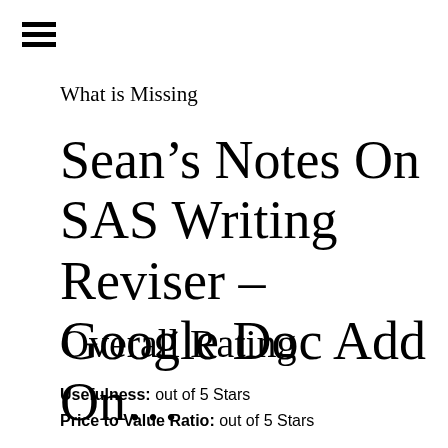[Figure (other): Hamburger menu icon with three horizontal lines]
What is Missing
Sean’s Notes On SAS Writing Reviser – Google Doc Add On…
Overall Rating
Usefulness: out of 5 Stars
Price to Value Ratio: out of 5 Stars